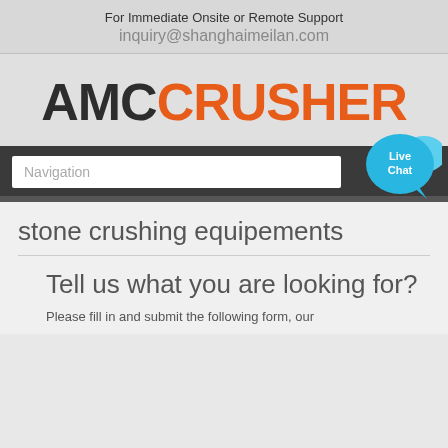For Immediate Onsite or Remote Support
inquiry@shanghaimeilan.com
[Figure (logo): AMC CRUSHER logo with AMC in dark/black and CRUSHER in orange]
Navigation
Live Chat
stone crushing equipements
Tell us what you are looking for?
Please fill in and submit the following form, our